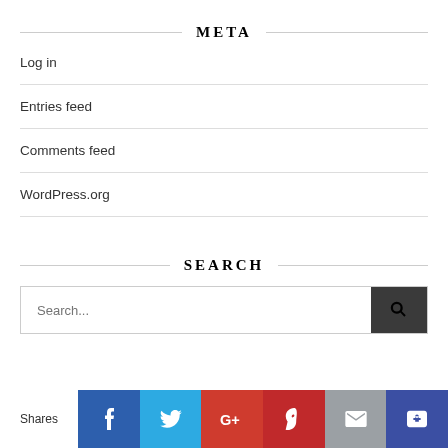META
Log in
Entries feed
Comments feed
WordPress.org
SEARCH
Search...
Shares